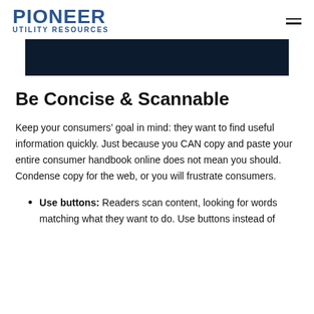Pioneer Utility Resources
[Figure (other): Dark navy banner/hero image strip]
Be Concise & Scannable
Keep your consumers’ goal in mind: they want to find useful information quickly. Just because you CAN copy and paste your entire consumer handbook online does not mean you should. Condense copy for the web, or you will frustrate consumers.
Use buttons: Readers scan content, looking for words matching what they want to do. Use buttons instead of